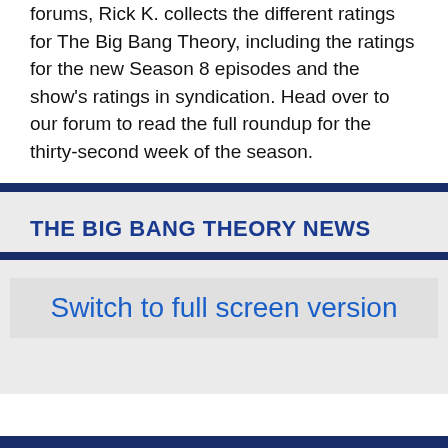forums, Rick K. collects the different ratings for The Big Bang Theory, including the ratings for the new Season 8 episodes and the show's ratings in syndication. Head over to our forum to read the full roundup for the thirty-second week of the season.
THE BIG BANG THEORY NEWS
Switch to full screen version